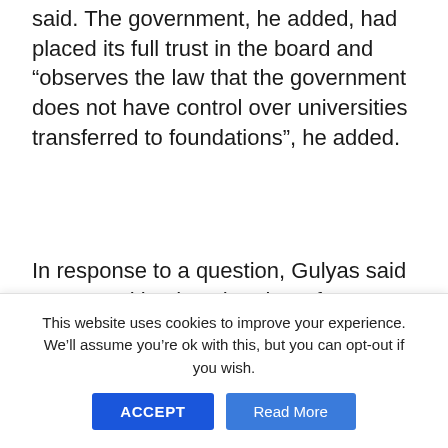said. The government, he added, had placed its full trust in the board and “observes the law that the government does not have control over universities transferred to foundations”, he added.
In response to a question, Gulyas said a proposal by the Chamber of Doctors to double doctors’ salaries paired with sanctions for accepting gratuities was discussed by the cabinet on Wednesday. “A decision wasn’t taken … the proposal provides the basis for negotiations and now we’re in direct talks with them,” Gulyas said.
On another topic, Gulyas said the government…
This website uses cookies to improve your experience. We’ll assume you’re ok with this, but you can opt-out if you wish.